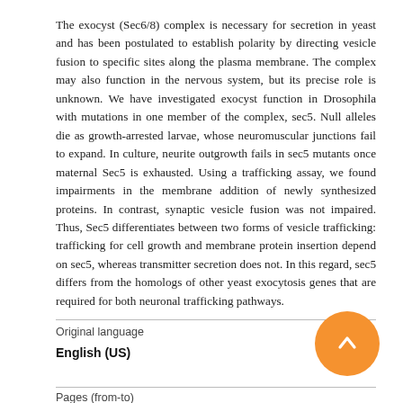The exocyst (Sec6/8) complex is necessary for secretion in yeast and has been postulated to establish polarity by directing vesicle fusion to specific sites along the plasma membrane. The complex may also function in the nervous system, but its precise role is unknown. We have investigated exocyst function in Drosophila with mutations in one member of the complex, sec5. Null alleles die as growth-arrested larvae, whose neuromuscular junctions fail to expand. In culture, neurite outgrowth fails in sec5 mutants once maternal Sec5 is exhausted. Using a trafficking assay, we found impairments in the membrane addition of newly synthesized proteins. In contrast, synaptic vesicle fusion was not impaired. Thus, Sec5 differentiates between two forms of vesicle trafficking: trafficking for cell growth and membrane protein insertion depend on sec5, whereas transmitter secretion does not. In this regard, sec5 differs from the homologs of other yeast exocytosis genes that are required for both neuronal trafficking pathways.
Original language
English (US)
Pages (from-to)